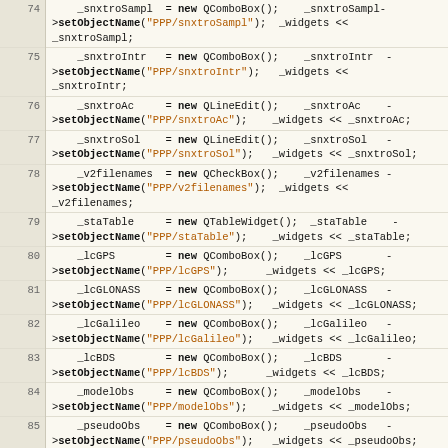[Figure (screenshot): Source code listing lines 74-88 in C++/Qt style, showing widget initialization code with QComboBox, QLineEdit, QCheckBox, QTableWidget objects being created and assigned object names.]